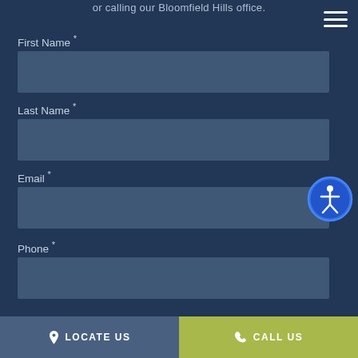or calling our Bloomfield Hills office.
First Name *
Last Name *
Email *
Phone *
LOCATE US   CALL US